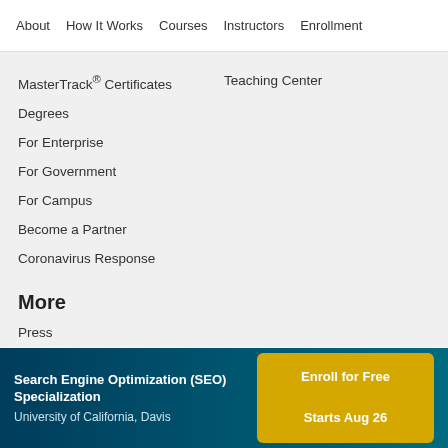About | How It Works | Courses | Instructors | Enrollment
MasterTrack® Certificates
Teaching Center
Degrees
For Enterprise
For Government
For Campus
Become a Partner
Coronavirus Response
More
Press
Search Engine Optimization (SEO) Specialization
University of California, Davis
Enroll for Free
Starts Aug 26